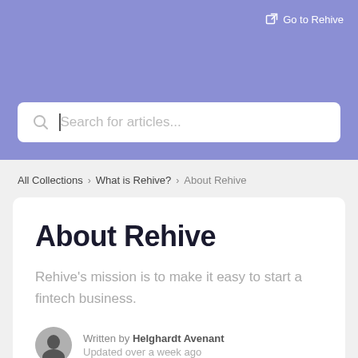Go to Rehive
[Figure (screenshot): Search bar with magnifying glass icon and placeholder text 'Search for articles...' with cursor]
All Collections > What is Rehive? > About Rehive
About Rehive
Rehive's mission is to make it easy to start a fintech business.
Written by Helghardt Avenant
Updated over a week ago